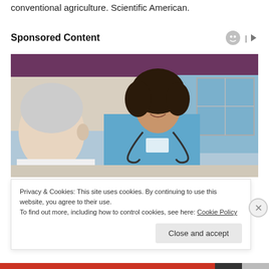conventional agriculture. Scientific American.
Sponsored Content
[Figure (photo): A smiling female nurse in blue scrubs with a stethoscope speaking with an elderly patient in a home or care setting.]
Privacy & Cookies: This site uses cookies. By continuing to use this website, you agree to their use.
To find out more, including how to control cookies, see here: Cookie Policy
Close and accept